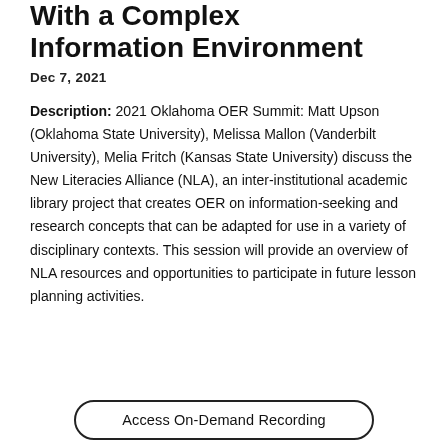With a Complex Information Environment
Dec 7, 2021
Description: 2021 Oklahoma OER Summit: Matt Upson (Oklahoma State University), Melissa Mallon (Vanderbilt University), Melia Fritch (Kansas State University) discuss the New Literacies Alliance (NLA), an inter-institutional academic library project that creates OER on information-seeking and research concepts that can be adapted for use in a variety of disciplinary contexts. This session will provide an overview of NLA resources and opportunities to participate in future lesson planning activities.
Access On-Demand Recording